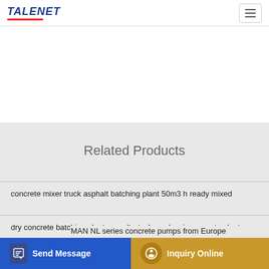TALENET
Related Products
concrete mixer truck asphalt batching plant 50m3 h ready mixed
dry concrete batching plant gsw ultratech ready mix concrete plant
2018 Toro CM-1258Y-SD Concrete Mixer Diesel
MAN NL series concrete pumps from Europe